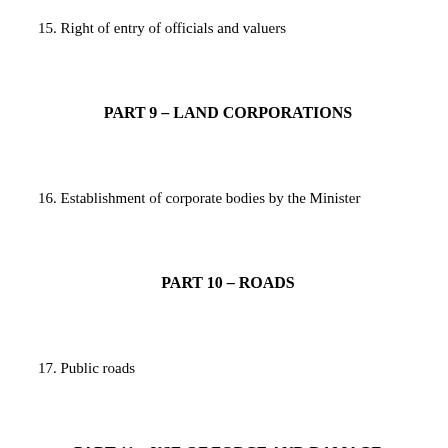15. Right of entry of officials and valuers
PART 9 – LAND CORPORATIONS
16. Establishment of corporate bodies by the Minister
PART 10 – ROADS
17. Public roads
PART 11 – USE OF FORCE AND DAMAGE
18. Prohibition of use of force
19. Prohibition of damage and destruction of …